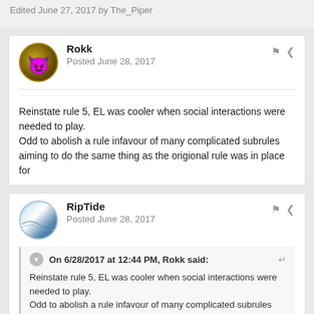Edited June 27, 2017 by The_Piper
Rokk
Posted June 28, 2017
Reinstate rule 5, EL was cooler when social interactions were needed to play.
Odd to abolish a rule infavour of many complicated subrules aiming to do the same thing as the origional rule was in place for
RipTide
Posted June 28, 2017
On 6/28/2017 at 12:44 PM, Rokk said:
Reinstate rule 5, EL was cooler when social interactions were needed to play.
Odd to abolish a rule infavour of many complicated subrules